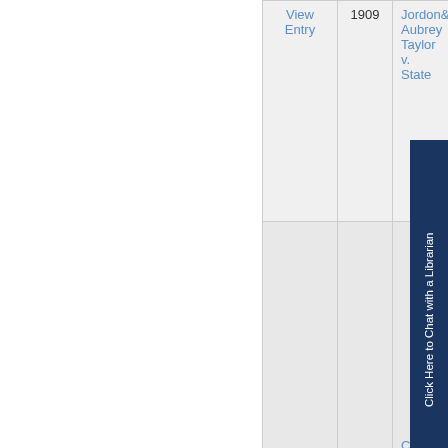| View Entry | Year | Case Name |
| --- | --- | --- |
| View Entry | 1909 | Jordon& Aubrey Taylor v. State |
| View Entry |  | Camp Porter |
[Figure (other): Blue vertical chat widget button reading 'Click Here to Chat with a Librarian']